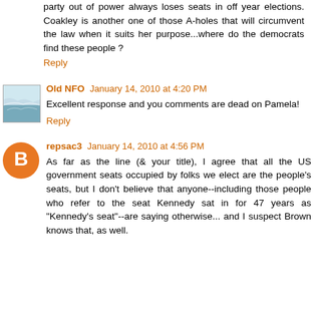party out of power always loses seats in off year elections. Coakley is another one of those A-holes that will circumvent the law when it suits her purpose...where do the democrats find these people ?
Reply
Old NFO  January 14, 2010 at 4:20 PM
Excellent response and you comments are dead on Pamela!
Reply
repsac3  January 14, 2010 at 4:56 PM
As far as the line (& your title), I agree that all the US government seats occupied by folks we elect are the people's seats, but I don't believe that anyone--including those people who refer to the seat Kennedy sat in for 47 years as "Kennedy's seat"--are saying otherwise... and I suspect Brown knows that, as well.